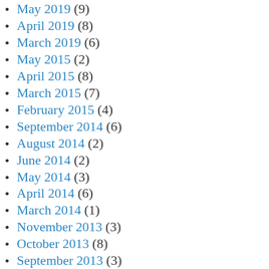May 2019 (9)
April 2019 (8)
March 2019 (6)
May 2015 (2)
April 2015 (8)
March 2015 (7)
February 2015 (4)
September 2014 (6)
August 2014 (2)
June 2014 (2)
May 2014 (3)
April 2014 (6)
March 2014 (1)
November 2013 (3)
October 2013 (8)
September 2013 (3)
May 2013 (6)